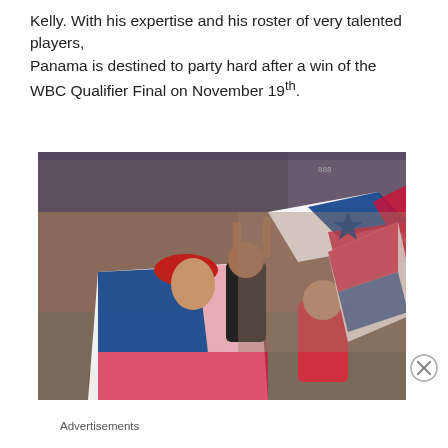Kelly. With his expertise and his roster of very talented players, Panama is destined to party hard after a win of the WBC Qualifier Final on November 19th.
[Figure (photo): Fans in a stadium waving Panama flags. A young boy in a red cap is wrapped in a large Panama flag in the foreground, with a crowd of spectators filling the stadium behind him.]
Advertisements